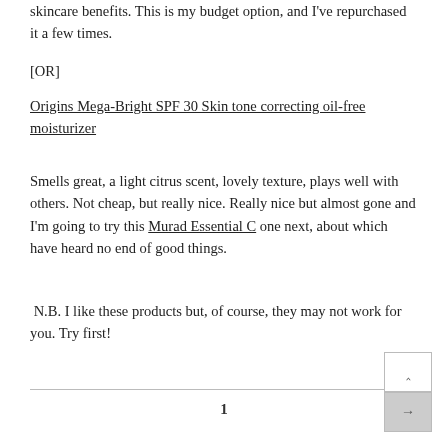skincare benefits. This is my budget option, and I've repurchased it a few times.
[OR]
Origins Mega-Bright SPF 30 Skin tone correcting oil-free moisturizer
Smells great, a light citrus scent, lovely texture, plays well with others. Not cheap, but really nice. Really nice but almost gone and I'm going to try this Murad Essential C one next, about which have heard no end of good things.
N.B. I like these products but, of course, they may not work for you. Try first!
1